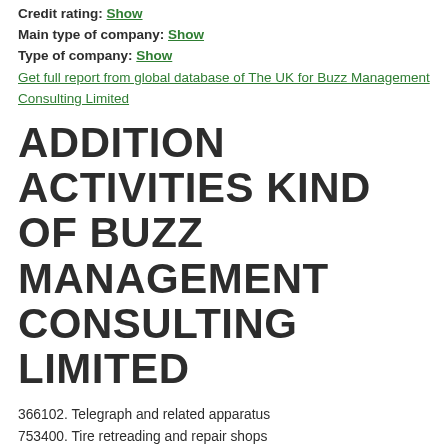Credit rating: Show
Main type of company: Show
Type of company: Show
Get full report from global database of The UK for Buzz Management Consulting Limited
ADDITION ACTIVITIES KIND OF BUZZ MANAGEMENT CONSULTING LIMITED
366102. Telegraph and related apparatus
753400. Tire retreading and repair shops
799699. Amusement parks, nec
35230403. Blowers, forage
38210400. Laboratory measuring apparatus
70110302. Hotel, franchised
76929901. Automotive welding
82210202. Theological seminary